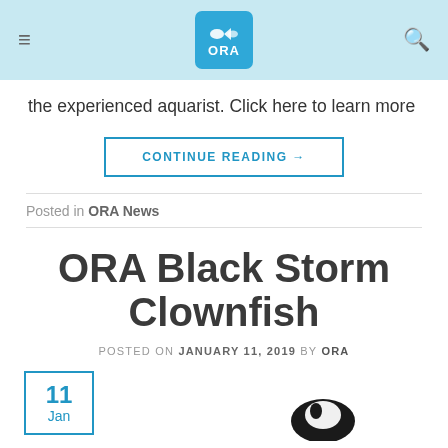ORA (logo)
the experienced aquarist. Click here to learn more
CONTINUE READING →
Posted in ORA News
ORA Black Storm Clownfish
POSTED ON JANUARY 11, 2019 BY ORA
11 Jan